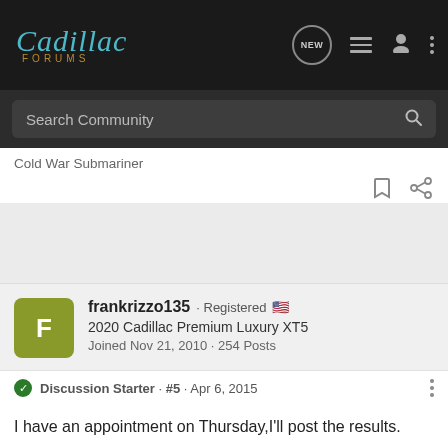Cadillac FORUMS
Search Community
Cold War Submariner
frankrizzo135 · Registered
2020 Cadillac Premium Luxury XT5
Joined Nov 21, 2010 · 254 Posts
Discussion Starter · #5 · Apr 6, 2015
I have an appointment on Thursday,I'll post the results.